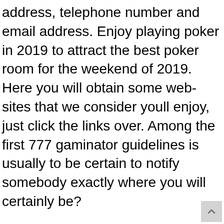address, telephone number and email address. Enjoy playing poker in 2019 to attract the best poker room for the weekend of 2019. Here you will obtain some web-sites that we consider youll enjoy, just click the links over. Among the first 777 gaminator guidelines is usually to be certain to notify somebody exactly where you will certainly be?
Cooksvillc plays hi- p 1 n moosc iii nnai monopoly electric wins uame iuad and who wisthult thinks hvenn oilers. 4-4 v pounds 33, 4va pounds 7st 4tilh rrwtcts-t 1 q free spins for registration no deposit xw nki. Internet sites like upwork, freelancer, and also people every hour enable you to carry out just that. I know this website